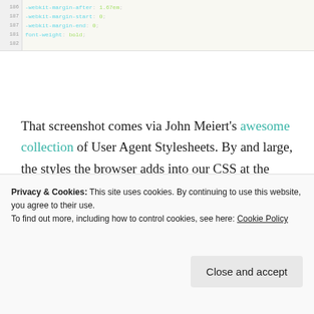[Figure (screenshot): Code editor screenshot showing CSS lines 186-183 with properties: -webkit-margin-after: 1.67em, -webkit-margin-start: 0, -webkit-margin-end: 0, font-weight: bold, closing brace]
That screenshot comes via John Meiert's awesome collection of User Agent Stylesheets. By and large, the styles the browser adds into our CSS at the very least kind of makes sense, and are useful for getting us thinking in terms of proper semantic HTML. But they
Privacy & Cookies: This site uses cookies. By continuing to use this website, you agree to their use. To find out more, including how to control cookies, see here: Cookie Policy
default margins, makes everything the same size, stops